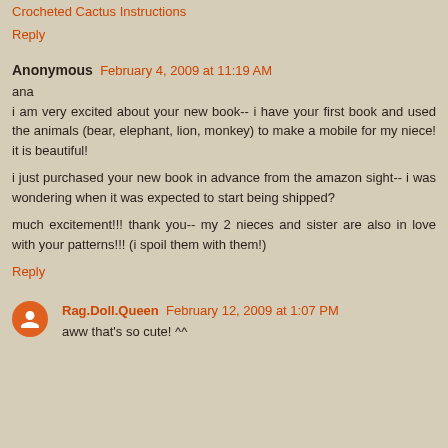Crocheted Cactus Instructions
Reply
Anonymous  February 4, 2009 at 11:19 AM
ana
i am very excited about your new book-- i have your first book and used the animals (bear, elephant, lion, monkey) to make a mobile for my niece! it is beautiful!

i just purchased your new book in advance from the amazon sight-- i was wondering when it was expected to start being shipped?

much excitement!!! thank you-- my 2 nieces and sister are also in love with your patterns!!! (i spoil them with them!)
Reply
Rag.Doll.Queen  February 12, 2009 at 1:07 PM
aww that's so cute! ^^